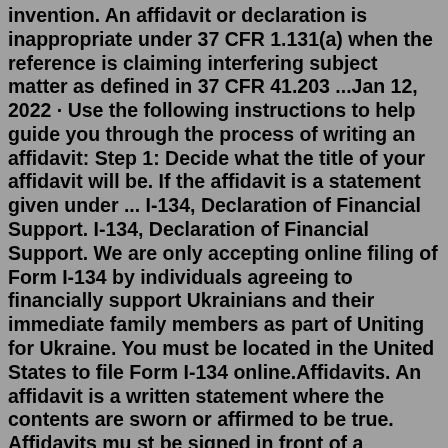invention. An affidavit or declaration is inappropriate under 37 CFR 1.131(a) when the reference is claiming interfering subject matter as defined in 37 CFR 41.203 ...Jan 12, 2022 · Use the following instructions to help guide you through the process of writing an affidavit: Step 1: Decide what the title of your affidavit will be. If the affidavit is a statement given under ... I-134, Declaration of Financial Support. I-134, Declaration of Financial Support. We are only accepting online filing of Form I-134 by individuals agreeing to financially support Ukrainians and their immediate family members as part of Uniting for Ukraine. You must be located in the United States to file Form I-134 online.Affidavits. An affidavit is a written statement where the contents are sworn or affirmed to be true. Affidavits mu st be signed in front of a witness who is an "authorised person". An authorised person includes a Justice of the Peace (JP), a solicitor or barrister. After witnessing your signature, the witness must also sign your affidavit.affidavit: [noun] a sworn statement in